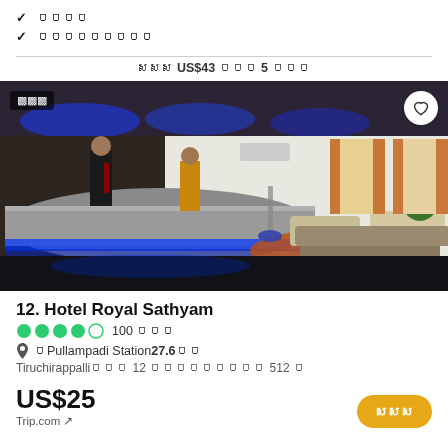✓ ០០០០
✓ ០០០០០០០០០
សសស US$43 ០០០ 5 ០០០
[Figure (photo): Hotel lobby photo showing reception desk with blue accent lighting, staff members, seating area with beige sofas, and orange curtained windows]
12. Hotel Royal Sathyam
●●●●○ 100 ០០០
📍 ០Pullampadi Station27.6០០
Tiruchirappalli០០០ 12 ០០០០០០០០០ 512 ០
US$25
Trip.com ↗
សសស